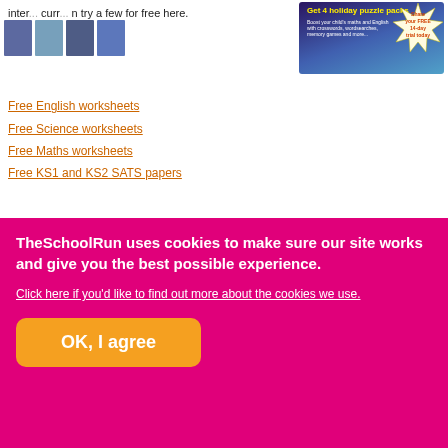inter... curr... n try a few for free here.
[Figure (screenshot): Advertisement banner: Get 4 holiday puzzle packs with starburst showing Share your FREE 14-day trial today]
Free English worksheets
Free Science worksheets
Free Maths worksheets
Free KS1 and KS2 SATS papers
Tutorial finder
Learning pack finder
[Figure (photo): Educational worksheet books/materials shown on magenta/pink background — Times tables and maths worksheets]
TheSchoolRun uses cookies to make sure our site works and give you the best possible experience.
Click here if you'd like to find out more about the cookies we use.
OK, I agree